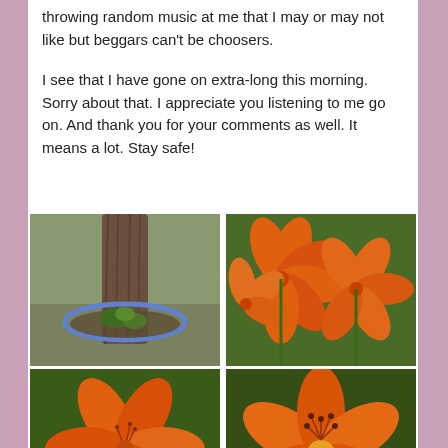throwing random music at me that I may or may not like but beggars can't be choosers.
I see that I have gone on extra-long this morning. Sorry about that. I appreciate you listening to me go on. And thank you for your comments as well. It means a lot. Stay safe!
[Figure (photo): A blue hula hoop ring around the base of a tree trunk with small green plants growing inside it on grass]
[Figure (photo): Close-up of bright orange day lily flowers with green foliage in background]
[Figure (photo): Close-up of a single bright orange day lily flower with dark green background]
[Figure (photo): Close-up of an orange day lily flower showing stamens, viewed from slightly above]